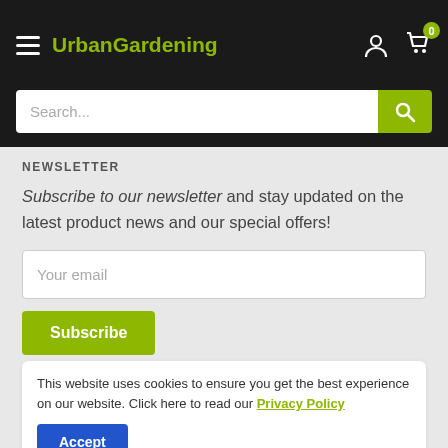UrbanGardening
[Figure (screenshot): Search bar with text input field and green search button]
NEWSLETTER
Subscribe to our newsletter and stay updated on the latest product news and our special offers!
Your email
Subscribe
This website uses cookies to ensure you get the best experience on our website. Click here to read our Privacy Policy
Accept
Follow Us